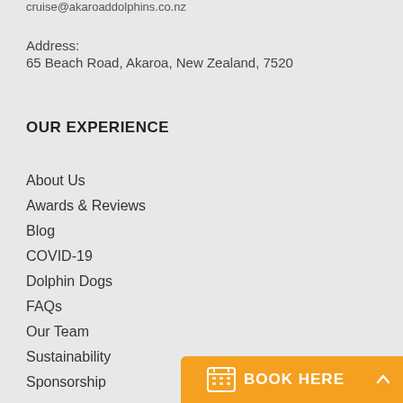cruise@akaroaddolphins.co.nz
Address:
65 Beach Road, Akaroa, New Zealand, 7520
OUR EXPERIENCE
About Us
Awards & Reviews
Blog
COVID-19
Dolphin Dogs
FAQs
Our Team
Sustainability
Sponsorship
[Figure (other): Orange 'BOOK HERE' button with calendar icon and scroll-to-top arrow button]